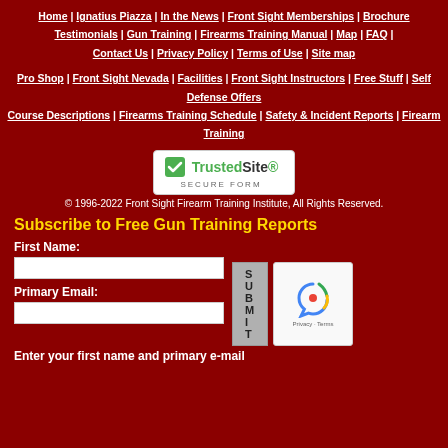Home | Ignatius Piazza | In the News | Front Sight Memberships | Brochure | Testimonials | Gun Training | Firearms Training Manual | Map | FAQ | Contact Us | Privacy Policy | Terms of Use | Site map
Pro Shop | Front Sight Nevada | Facilities | Front Sight Instructors | Free Stuff | Self Defense Offers | Course Descriptions | Firearms Training Schedule | Safety & Incident Reports | Firearm Training
[Figure (logo): TrustedSite Secure Form badge]
© 1996-2022 Front Sight Firearm Training Institute, All Rights Reserved.
Subscribe to Free Gun Training Reports
First Name:
Primary Email:
Enter your first name and primary e-mail